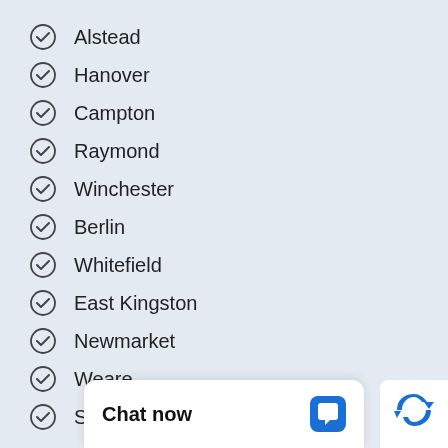Alstead
Hanover
Campton
Raymond
Winchester
Berlin
Whitefield
East Kingston
Newmarket
Weare
Seabrook